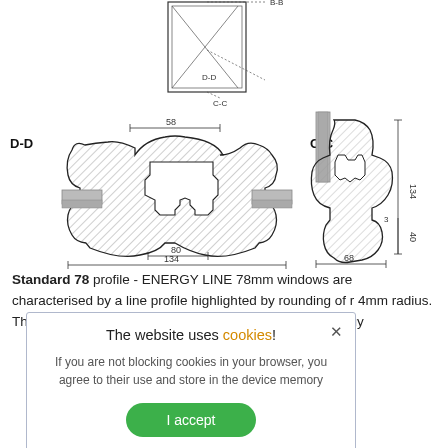[Figure (engineering-diagram): Cross-section engineering diagrams of a window profile. Top: small overview with B-B and D-D and C-C markers. Bottom-left: D-D cross-section showing 58mm and 80mm and 134mm dimensions. Bottom-right: C-C cross-section showing 134mm, 40mm, 68mm dimensions.]
Standard 78 profile - ENERGY LINE 78mm windows are characterised by a line profile highlighted by rounding of r 4mm radius. They are ... hick. These are energy ... n. Such a deep profile ... save than standard ... y rating of our ... sing glass
The website uses cookies! If you are not blocking cookies in your browser, you agree to their use and store in the device memory
I accept